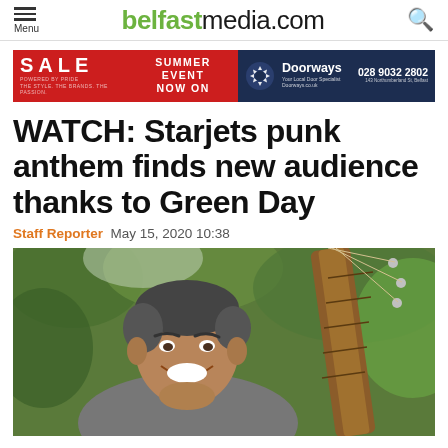belfastmedia.com
[Figure (photo): Advertising banner: left side red background with 'SALE' and 'SUMMER EVENT NOW ON'; right side dark navy background with Doorways logo, phone number 028 9032 2802 and address 143 Northumberland St, Belfast]
WATCH: Starjets punk anthem finds new audience thanks to Green Day
Staff Reporter  May 15, 2020 10:38
[Figure (photo): Smiling man holding a guitar neck, photographed outdoors in a garden with green foliage background]